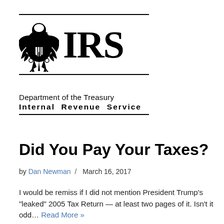[Figure (logo): IRS logo with eagle emblem, horizontal lines above and below, large IRS text]
Department of the Treasury
Internal Revenue Service
Did You Pay Your Taxes?
by Dan Newman / March 16, 2017
I would be remiss if I did not mention President Trump's "leaked" 2005 Tax Return — at least two pages of it. Isn't it odd… Read More »